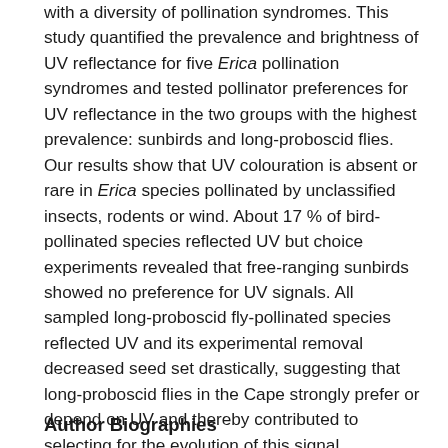with a diversity of pollination syndromes. This study quantified the prevalence and brightness of UV reflectance for five Erica pollination syndromes and tested pollinator preferences for UV reflectance in the two groups with the highest prevalence: sunbirds and long-proboscid flies. Our results show that UV colouration is absent or rare in Erica species pollinated by unclassified insects, rodents or wind. About 17 % of bird-pollinated species reflected UV but choice experiments revealed that free-ranging sunbirds showed no preference for UV signals. All sampled long-proboscid fly-pollinated species reflected UV and its experimental removal decreased seed set drastically, suggesting that long-proboscid flies in the Cape strongly prefer or depend on UV and thereby contributed to selecting for the evolution of this signal.
Author Biographies